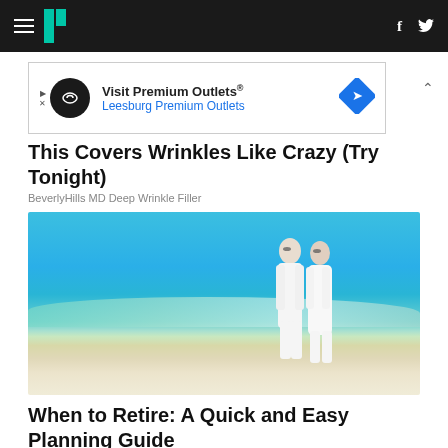HuffPost navigation header with hamburger menu, logo, Facebook and Twitter icons
[Figure (screenshot): Advertisement banner for Visit Premium Outlets - Leesburg Premium Outlets with infinity logo and direction sign diamond icon]
This Covers Wrinkles Like Crazy (Try Tonight)
BeverlyHills MD Deep Wrinkle Filler
[Figure (photo): Elderly couple dressed in white walking together on a bright sandy beach with blue sky and turquoise water]
When to Retire: A Quick and Easy Planning Guide
Fisher Investments
[Figure (photo): Bottom partially visible advertisement with golden yellow background and blue illustrated figures]